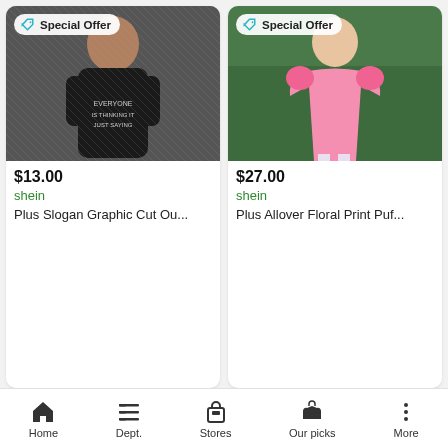[Figure (photo): Woman in black graphic t-shirt dress with 'EVERYONE IS THINKING IT, JUST SAYING' text, Special Offer badge]
$13.00
shein
Plus Slogan Graphic Cut Ou...
[Figure (photo): Woman in pink floral puff sleeve mini dress outdoors, Special Offer badge]
$27.00
shein
Plus Allover Floral Print Puf...
[Figure (photo): Woman in sage green tie-front flutter sleeve dress, Special Offer badge]
[Figure (photo): Woman in black cutout bodycon dress, Special Offer badge]
Home  Dept.  Stores  Our picks  More